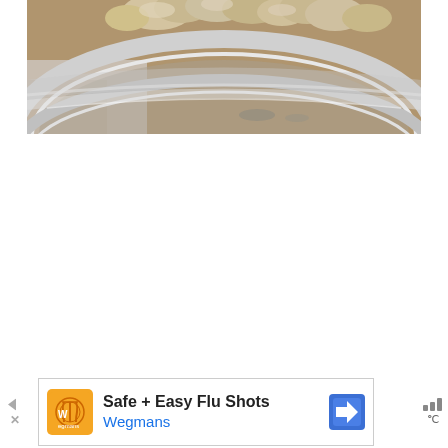[Figure (photo): Close-up photo of a round metal steamer basket or bowl containing food (appears to be dumplings or similar items) on a marble surface. The image is cropped showing the upper portion of the circular vessel with a shiny metallic rim.]
[Figure (infographic): Advertisement banner at bottom of page: Wegmans ad for 'Safe + Easy Flu Shots' with Wegmans logo on orange background, navigation arrow icon, and signal/weather bars icon.]